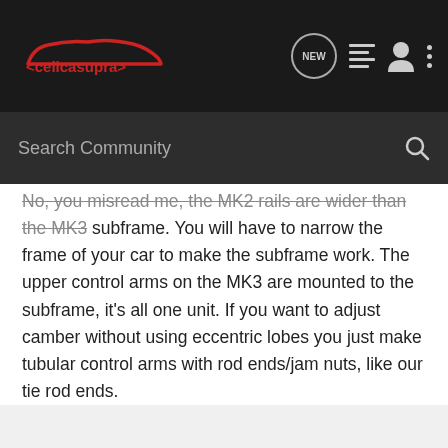celicasupra — NEW | list | user | more
Search Community
No, you misread me, the MK2 rails are wider than the MK3 subframe. You will have to narrow the frame of your car to make the subframe work. The upper control arms on the MK3 are mounted to the subframe, it's all one unit. If you want to adjust camber without using eccentric lobes you just make tubular control arms with rod ends/jam nuts, like our tie rod ends.
'85 Celica GT-SS
344hp 351tq
pimptrizkit · Registered
Joined Mar 4, 2005 · 1,476 Posts